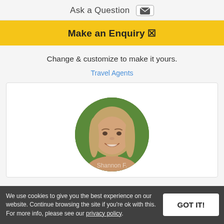Ask a Question
Make an Enquiry
Change & customize to make it yours.
Travel Agents
[Figure (photo): Circular profile photo of a smiling young woman with long blonde hair, outdoor green background. Name overlay reads 'Shannon F.']
We use cookies to give you the best experience on our website. Continue browsing the site if you're ok with this. For more info, please see our privacy policy.